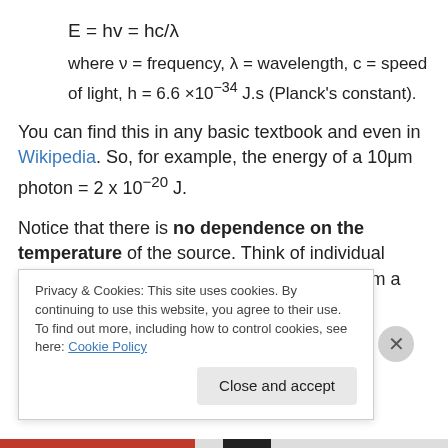where ν = frequency, λ = wavelength, c = speed of light, h = 6.6 ×10⁻³⁴ J.s (Planck's constant).
You can find this in any basic textbook and even in Wikipedia. So, for example, the energy of a 10μm photon = 2 x 10⁻²⁰ J.
Notice that there is no dependence on the temperature of the source. Think of individual photons as anonymous – a 10μm photon from a 2,000K source has exactly the
Privacy & Cookies: This site uses cookies. By continuing to use this website, you agree to their use.
To find out more, including how to control cookies, see here: Cookie Policy